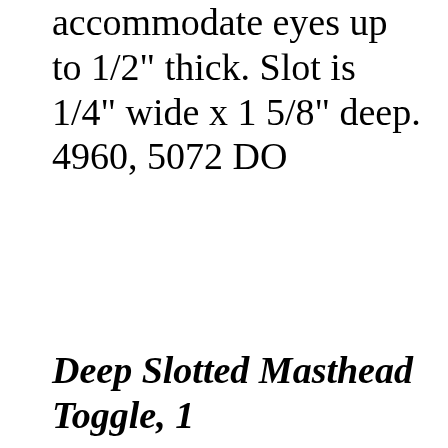accommodate eyes up to 1/2" thick. Slot is 1/4" wide x 1 5/8" deep. 4960, 5072 DO
Deep Slotted Masthead Toggle, 1